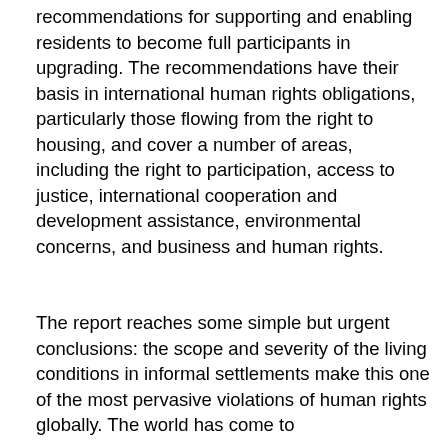recommendations for supporting and enabling residents to become full participants in upgrading. The recommendations have their basis in international human rights obligations, particularly those flowing from the right to housing, and cover a number of areas, including the right to participation, access to justice, international cooperation and development assistance, environmental concerns, and business and human rights.
The report reaches some simple but urgent conclusions: the scope and severity of the living conditions in informal settlements make this one of the most pervasive violations of human rights globally. The world has come to